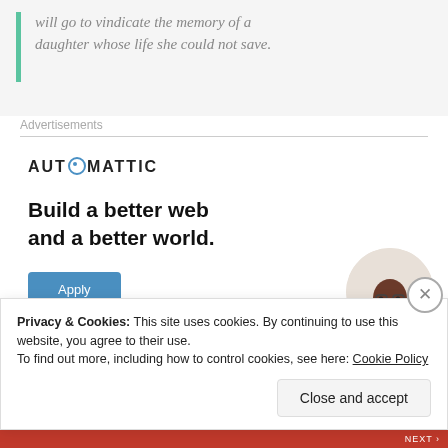will go to vindicate the memory of a daughter whose life she could not save.
Advertisements
[Figure (logo): AUTOMATTIC logo with compass/circle icon replacing the letter O]
Build a better web and a better world.
[Figure (photo): Circular photo of a young Black man with glasses and beard, looking upward thoughtfully, wearing a beige t-shirt]
Privacy & Cookies: This site uses cookies. By continuing to use this website, you agree to their use.
To find out more, including how to control cookies, see here: Cookie Policy
Close and accept